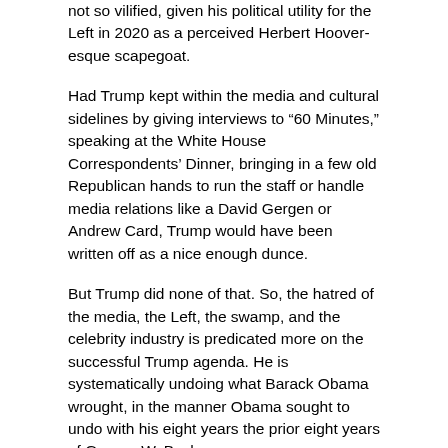not so vilified, given his political utility for the Left in 2020 as a perceived Herbert Hoover-esque scapegoat.
Had Trump kept within the media and cultural sidelines by giving interviews to “60 Minutes,” speaking at the White House Correspondents’ Dinner, bringing in a few old Republican hands to run the staff or handle media relations like a David Gergen or Andrew Card, Trump would have been written off as a nice enough dunce.
But Trump did none of that. So, the hatred of the media, the Left, the swamp, and the celebrity industry is predicated more on the successful Trump agenda. He is systematically undoing what Barack Obama wrought, in the manner Obama sought to undo with his eight years the prior eight years of George W. Bush.
But whereas the Obama economy stagnated and his foreign policy was seen by adversaries